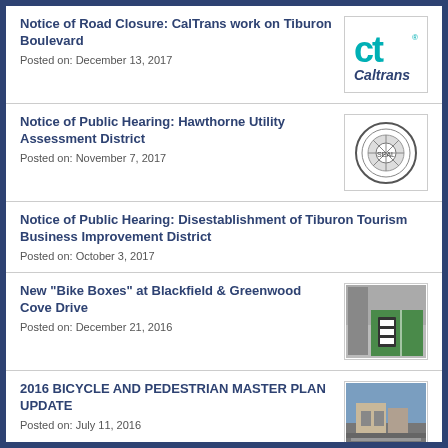Notice of Road Closure: CalTrans work on Tiburon Boulevard
Posted on: December 13, 2017
[Figure (logo): Caltrans logo - teal CT letters with 'Caltrans' text below]
Notice of Public Hearing: Hawthorne Utility Assessment District
Posted on: November 7, 2017
[Figure (logo): Circular seal/logo with decorative border and bicycle/city imagery]
Notice of Public Hearing: Disestablishment of Tiburon Tourism Business Improvement District
Posted on: October 3, 2017
New "Bike Boxes" at Blackfield & Greenwood Cove Drive
Posted on: December 21, 2016
[Figure (photo): Photo of bike box street markings with green lane and signage]
2016 BICYCLE AND PEDESTRIAN MASTER PLAN UPDATE
Posted on: July 11, 2016
[Figure (photo): Photo of a street/building scene]